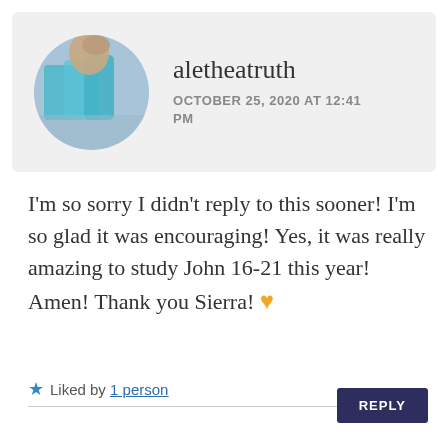[Figure (photo): Circular avatar photo of user aletheatruth showing a person with teal/blue items]
aletheatruth
OCTOBER 25, 2020 AT 12:41 PM
I'm so sorry I didn't reply to this sooner! I'm so glad it was encouraging! Yes, it was really amazing to study John 16-21 this year! Amen! Thank you Sierra! 🧡
★ Liked by 1 person
REPLY